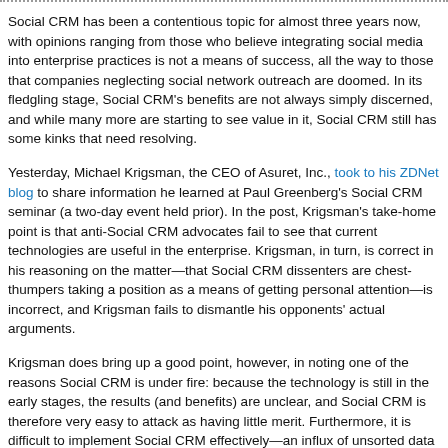Social CRM has been a contentious topic for almost three years now, with opinions ranging from those who believe integrating social media into enterprise practices is not a means of success, all the way to those that companies neglecting social network outreach are doomed. In its fledgling stage, Social CRM's benefits are not always simply discerned, and while many more are starting to see value in it, Social CRM still has some kinks that need resolving.
Yesterday, Michael Krigsman, the CEO of Asuret, Inc., took to his ZDNet blog to share information he learned at Paul Greenberg's Social CRM seminar (a two-day event held prior). In the post, Krigsman's take-home point is that anti-Social CRM advocates fail to see that current technologies are useful in the enterprise. Krigsman, in turn, is correct in his reasoning on the matter—that Social CRM dissenters are chest-thumpers taking a position as a means of getting personal attention—is incorrect, and Krigsman fails to dismantle his opponents' actual arguments.
Krigsman does bring up a good point, however, in noting one of the reasons Social CRM is under fire: because the technology is still in the early stages, the results (and benefits) are unclear, and Social CRM is therefore very easy to attack as having little merit. Furthermore, it is difficult to implement Social CRM effectively—an influx of unsorted data is often a bad thing, and time-consuming to organize.
The best way to implement Social CRM is to have a plan. This advice may seem obvious, but there are some important things to consider. For one, companies leveraging Social CRM need to find a method or application for structuring both the sorted and unsorted data. It's important to be tracking the incoming data from social media without wasting time with the noise, and organizing it in such a way that it is actionable.